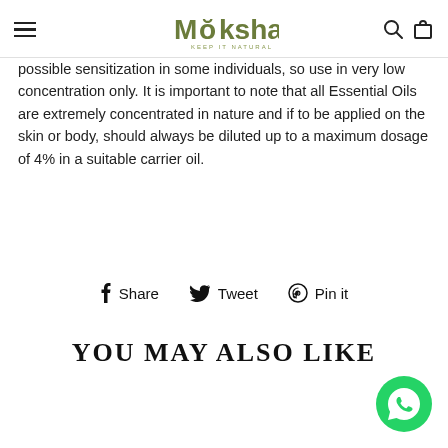Moksha — Keep It Natural (navigation header with hamburger menu, logo, search and cart icons)
possible sensitization in some individuals, so use in very low concentration only. It is important to note that all Essential Oils are extremely concentrated in nature and if to be applied on the skin or body, should always be diluted up to a maximum dosage of 4% in a suitable carrier oil.
Share  Tweet  Pin it
YOU MAY ALSO LIKE
[Figure (logo): WhatsApp contact button (green circle with phone icon)]